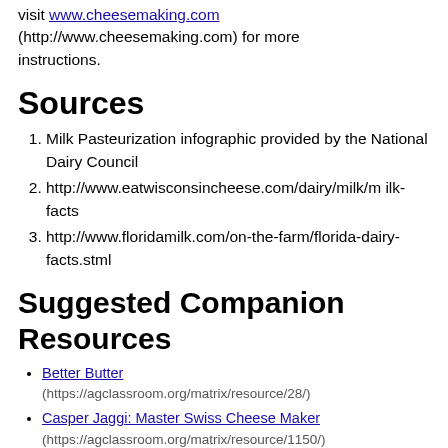visit www.cheesemaking.com (http://www.cheesemaking.com) for more instructions.
Sources
Milk Pasteurization infographic provided by the National Dairy Council
http://www.eatwisconsincheese.com/dairy/milk/milk-facts
http://www.floridamilk.com/on-the-farm/florida-dairy-facts.stml
Suggested Companion Resources
Better Butter (https://agclassroom.org/matrix/resource/28/)
Casper Jaggi: Master Swiss Cheese Maker (https://agclassroom.org/matrix/resource/1150/)
Louis Pasteur and Pasteurization (https://agclassroom.org/matrix/resource/990/)
Say Cheese! A Kid's Guide to Cheese Making